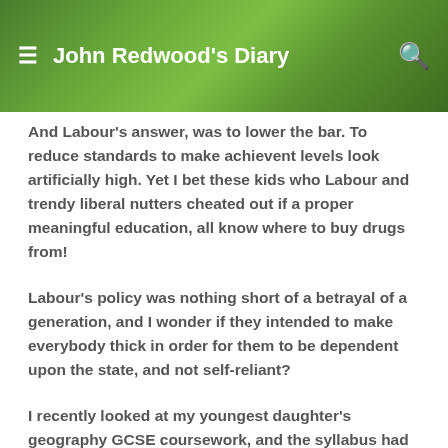John Redwood's Diary
And Labour's answer, was to lower the bar. To reduce standards to make achievent levels look artificially high. Yet I bet these kids who Labour and trendy liberal nutters cheated out if a proper meaningful education, all know where to buy drugs from!
Labour's policy was nothing short of a betrayal of a generation, and I wonder if they intended to make everybody thick in order for them to be dependent upon the state, and not self-reliant?
I recently looked at my youngest daughter's geography GCSE coursework, and the syllabus had absolutely no relevance whatsoever to geology or geographical locations. This is the